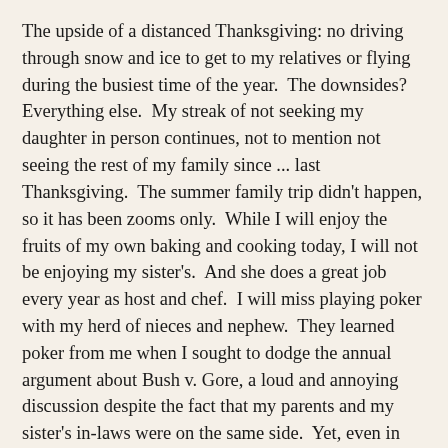The upside of a distanced Thanksgiving: no driving through snow and ice to get to my relatives or flying during the busiest time of the year.  The downsides?  Everything else.  My streak of not seeking my daughter in person continues, not to mention not seeing the rest of my family since ... last Thanksgiving.  The summer family trip didn't happen, so it has been zooms only.  While I will enjoy the fruits of my own baking and cooking today, I will not be enjoying my sister's.  And she does a great job every year as host and chef.  I will miss playing poker with my herd of nieces and nephew.  They learned poker from me when I sought to dodge the annual argument about Bush v. Gore, a loud and annoying discussion despite the fact that my parents and my sister's in-laws were on the same side.  Yet, even in this pandemic, there is much to be thankful for.
First, within the immediate family, we are relatively healthy.  Two nieces have gotten COVID with one having lasting effects long past her bout in March.  Given the rates of infection and how much damage this thing can do, we are doing ok.  And the family has been communicating more than ever, I think, with twice weekly zooms.  One with the next gen and one without.  My other sister